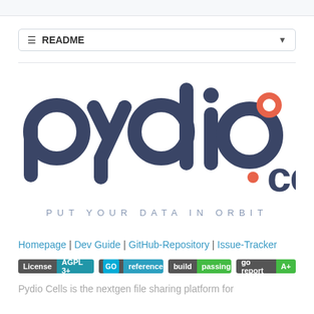☰ README
[Figure (logo): Pydio Cells logo with text PUT YOUR DATA IN ORBIT]
Homepage | Dev Guide | GitHub-Repository | Issue-Tracker
[Figure (infographic): Badges: License AGPL 3+, go reference, build passing, go report A+]
Pydio Cells is the nextgen file sharing platform for